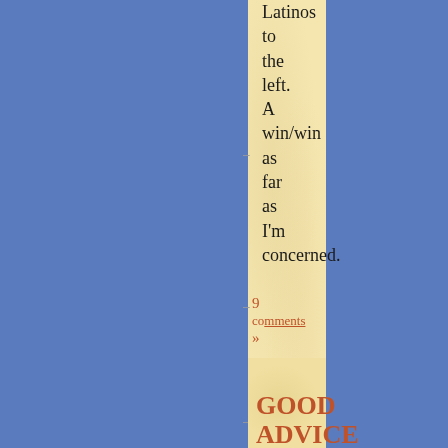Latinos to the left. A win/win as far as I'm concerned.
9 comments »
GOOD ADVICE
Filed on at 9:27 pm under by dc[redacted]